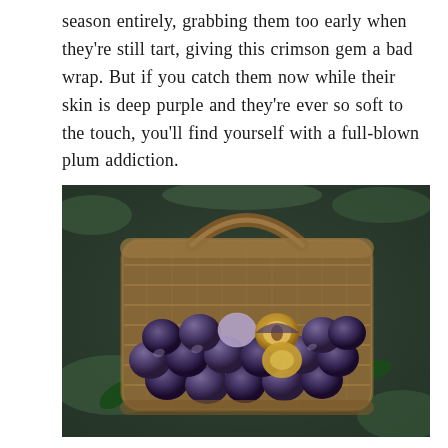season entirely, grabbing them too early when they're still tart, giving this crimson gem a bad wrap. But if you catch them now while their skin is deep purple and they're ever so soft to the touch, you'll find yourself with a full-blown plum addiction.
[Figure (photo): Overhead view of a wicker basket filled with dark purple plums, one plum cut in half showing yellow flesh, surrounded by green grass and leaves.]